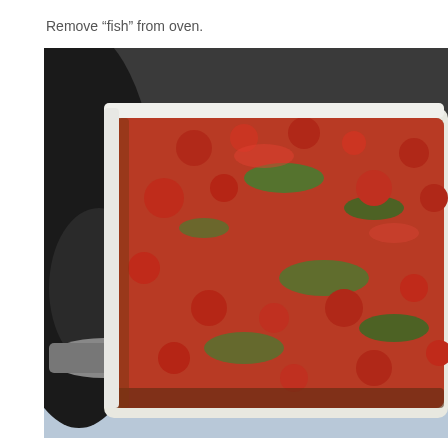Remove “fish” from oven.
[Figure (photo): A white rectangular baking dish filled with a tomato-based fish dish, topped with chunky red tomato sauce and fresh green herbs. A dark round pot or lid is visible to the left. The dish is photographed from above at an angle on a light blue surface.]